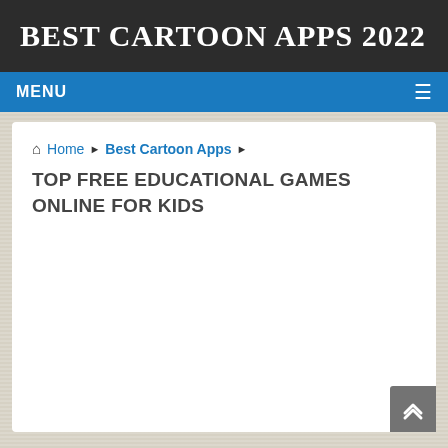BEST CARTOON APPS 2022
MENU
Home › Best Cartoon Apps ›
TOP FREE EDUCATIONAL GAMES ONLINE FOR KIDS